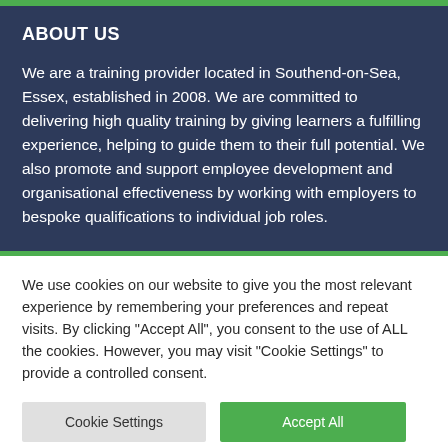ABOUT US
We are a training provider located in Southend-on-Sea, Essex, established in 2008. We are committed to delivering high quality training by giving learners a fulfilling experience, helping to guide them to their full potential. We also promote and support employee development and organisational effectiveness by working with employers to bespoke qualifications to individual job roles.
We use cookies on our website to give you the most relevant experience by remembering your preferences and repeat visits. By clicking "Accept All", you consent to the use of ALL the cookies. However, you may visit "Cookie Settings" to provide a controlled consent.
Cookie Settings | Accept All